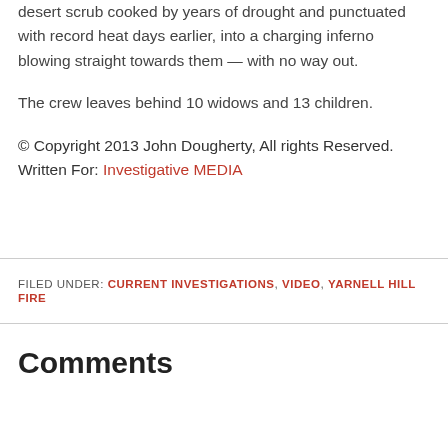desert scrub cooked by years of drought and punctuated with record heat days earlier, into a charging inferno blowing straight towards them — with no way out.
The crew leaves behind 10 widows and 13 children.
© Copyright 2013 John Dougherty, All rights Reserved. Written For: Investigative MEDIA
FILED UNDER: CURRENT INVESTIGATIONS, VIDEO, YARNELL HILL FIRE
Comments